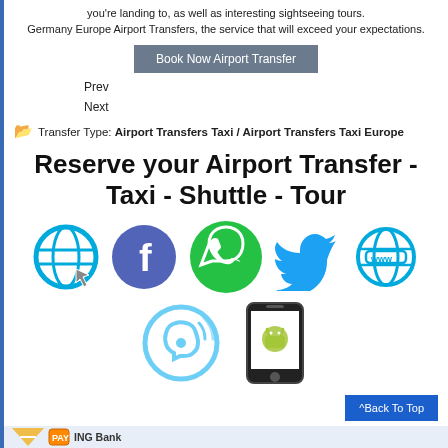you're landing to, as well as interesting sightseeing tours. Germany Europe Airport Transfers, the service that will exceed your expectations.
Book Now Airport Transfer
Prev
Next
Transfer Type: Airport Transfers Taxi / Airport Transfers Taxi Europe
Reserve your Airport Transfer - Taxi - Shuttle - Tour
[Figure (infographic): Row of social/contact icons: globe with cursor, Facebook logo, WhatsApp logo, Twitter bird, www globe. Below: Viber icon, Android phone icon.]
^Back To Top
ING Bank